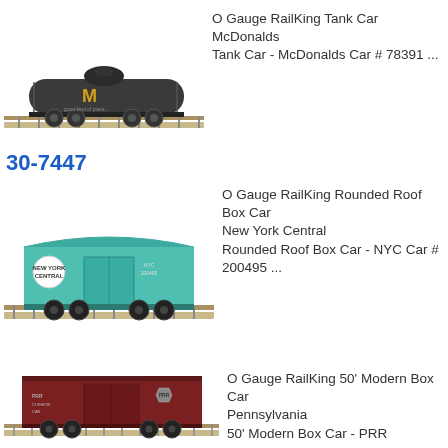[Figure (photo): O Gauge RailKing Tank Car McDonalds model train on track, dark/black tank car with golden arches logo]
O Gauge RailKing Tank Car McDonalds
Tank Car - McDonalds Car # 78391 ...
30-7447
[Figure (photo): O Gauge RailKing Rounded Roof Box Car New York Central, teal/green colored box car on track]
O Gauge RailKing Rounded Roof Box Car
New York Central
Rounded Roof Box Car - NYC Car # 200495 ...
30-7448
[Figure (photo): O Gauge RailKing 50' Modern Box Car Pennsylvania, dark red/maroon box car on track]
O Gauge RailKing 50' Modern Box Car
Pennsylvania
50' Modern Box Car - PRR